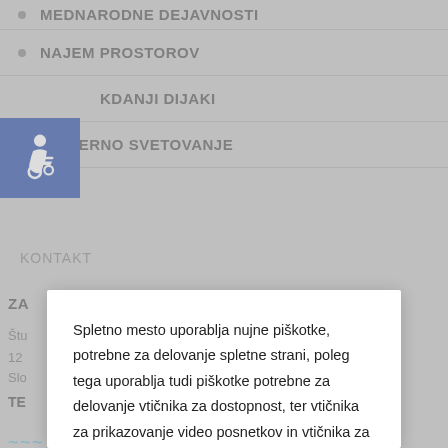MEDNARODNE DEJAVNOSTI
NAJEM PROSTOROV
NEKDANJI DIJAKI
KARIERNO SVETOVANJE
KONTAKT
[Figure (illustration): Blue accessibility icon with wheelchair symbol]
Spletno mesto uporablja nujne piškotke, potrebne za delovanje spletne strani, poleg tega uporablja tudi piškotke potrebne za delovanje vtičnika za dostopnost, ter vtičnika za prikazovanje video posnetkov in vtičnika za analitiko obiskov. Z uporabo strani soglašate z uporabo piškotkov.
Zavrni   Nastavitve   Potrdi